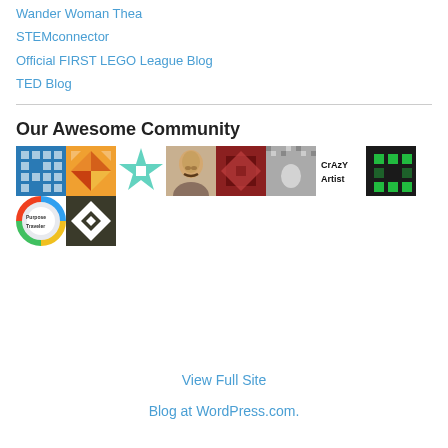Wander Woman Thea
STEMconnector
Official FIRST LEGO League Blog
TED Blog
Our Awesome Community
[Figure (illustration): A grid of community member avatar icons including geometric patterns, a portrait, logos, and circular emblems arranged in two rows]
View Full Site
Blog at WordPress.com.